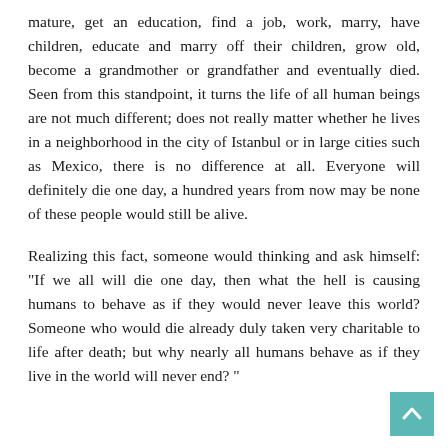mature, get an education, find a job, work, marry, have children, educate and marry off their children, grow old, become a grandmother or grandfather and eventually died. Seen from this standpoint, it turns the life of all human beings are not much different; does not really matter whether he lives in a neighborhood in the city of Istanbul or in large cities such as Mexico, there is no difference at all. Everyone will definitely die one day, a hundred years from now may be none of these people would still be alive.
Realizing this fact, someone would thinking and ask himself: "If we all will die one day, then what the hell is causing humans to behave as if they would never leave this world? Someone who would die already duly taken very charitable to life after death; but why nearly all humans behave as if they live in the world will never end? "